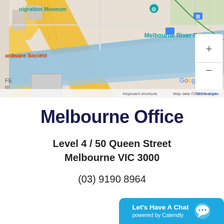[Figure (map): Google Maps screenshot showing Melbourne CBD area near Immigration Museum, Hardware Société, Melbourne River Cruises, Melbourne Skydeck, with zoom controls (+/-) and Google branding. Map data ©2022 Google. Keyboard shortcuts and Terms of Use links visible.]
Melbourne Office
Level 4 / 50 Queen Street
Melbourne VIC 3000
(03) 9190 8964
Let's Have A Chat
powered by Calendly